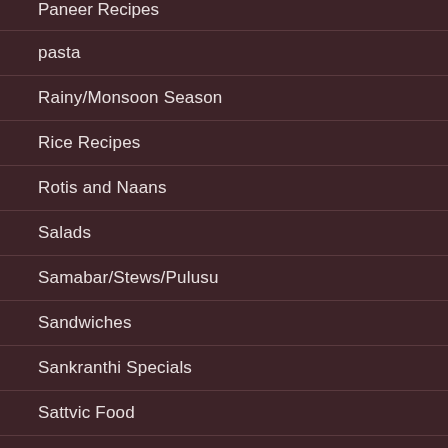Paneer Recipes
pasta
Rainy/Monsoon Season
Rice Recipes
Rotis and Naans
Salads
Samabar/Stews/Pulusu
Sandwiches
Sankranthi Specials
Sattvic Food
Seasonal
Sides